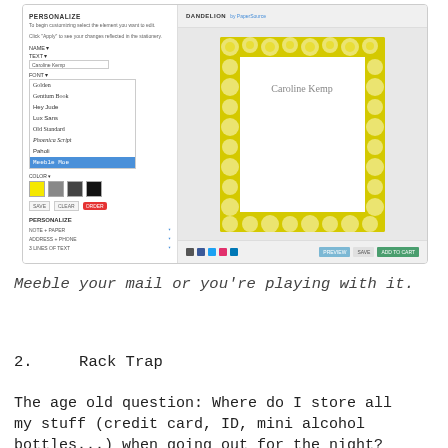[Figure (screenshot): Screenshot of a web-based stationery customization tool showing a 'Personalize' panel on the left with fields for name, text, font selection (Golden, Gentium Book, Hey Jude, Lux Sans, Old Standard, Phoenica Script, Paholi), and color swatches, alongside a preview of a yellow dandelion-bordered notepad with cursive text 'Caroline Kemp' and action buttons (Preview, Save, Add to Cart) at the bottom.]
Meeble your mail or you're playing with it.
2.    Rack Trap
The age old question: Where do I store all my stuff (credit card, ID, mini alcohol bottles...) when going out for the night? In your Rack Trap of course. This thing is